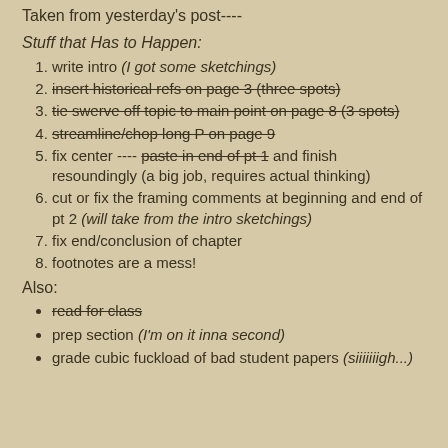Taken from yesterday's post----
Stuff that Has to Happen:
1. write intro (I got some sketchings)
2. insert historical refs on page 3 (three spots)
3. tie swerve off topic to main point on page 8 (3 spots)
4. streamline/chop long P on page 9
5. fix center ---- paste in end of pt 1 and finish resoundingly (a big job, requires actual thinking)
6. cut or fix the framing comments at beginning and end of pt 2 (will take from the intro sketchings)
7. fix end/conclusion of chapter
8. footnotes are a mess!
Also:
read for class
prep section (I'm on it inna second)
grade cubic fuckload of bad student papers (siiiiiiigh...)